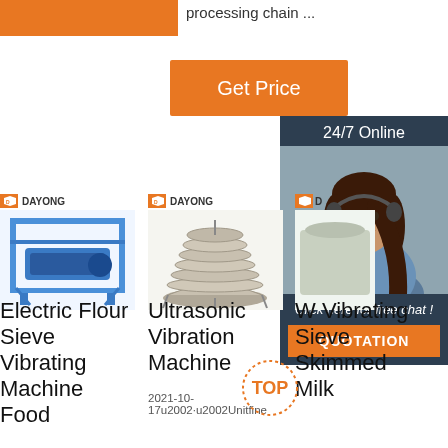[Figure (other): Orange decorative bar top left]
processing chain ...
[Figure (other): Orange Get Price button]
[Figure (other): 24/7 Online chat panel with woman in headset, Click here for free chat, QUOTATION button]
[Figure (other): DAYONG logo and blue electric flour sieve vibrating machine photo]
Electric Flour Sieve Vibrating Machine Food
[Figure (other): DAYONG logo and ultrasonic vibration machine (circular sieve) photo]
Ultrasonic Vibration Machine
2021-10-17u2002·u2002Unitfine
[Figure (other): Partially visible third product with DAYONG logo]
W Vibrating Sieve Skimmed Milk
[Figure (other): TOP badge/seal in orange dotted circle]